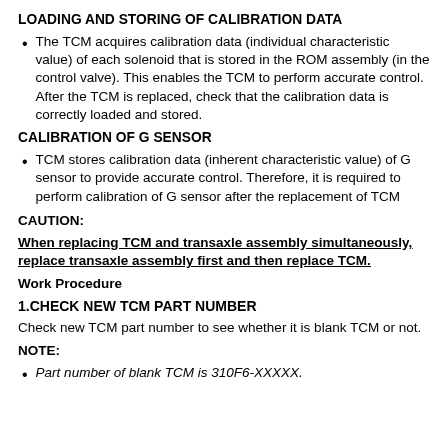LOADING AND STORING OF CALIBRATION DATA
The TCM acquires calibration data (individual characteristic value) of each solenoid that is stored in the ROM assembly (in the control valve). This enables the TCM to perform accurate control. After the TCM is replaced, check that the calibration data is correctly loaded and stored.
CALIBRATION OF G SENSOR
TCM stores calibration data (inherent characteristic value) of G sensor to provide accurate control. Therefore, it is required to perform calibration of G sensor after the replacement of TCM
CAUTION:
When replacing TCM and transaxle assembly simultaneously, replace transaxle assembly first and then replace TCM.
Work Procedure
1.CHECK NEW TCM PART NUMBER
Check new TCM part number to see whether it is blank TCM or not.
NOTE:
Part number of blank TCM is 310F6-XXXXX.